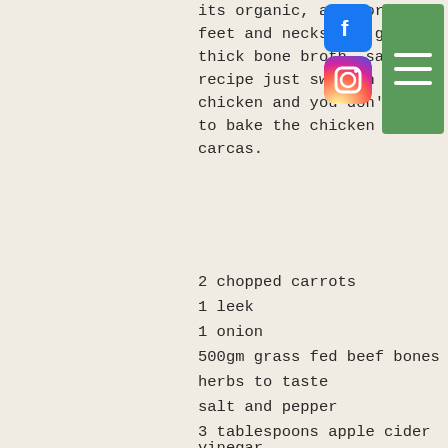its organic, ask for the feet and necks for good thick bone broth, same recipe just swap in the chicken and you don't need to bake the chicken carcas.
2 chopped carrots
1 leek
1 onion
500gm grass fed beef bones
herbs to taste
salt and pepper
3 tablespoons apple cider vinegar
3-4 litres filtered water
4-6 cloves of fresh garlic
Roughly chop vegetables, you can use any vegetables you have leftover that are looking tired, feel